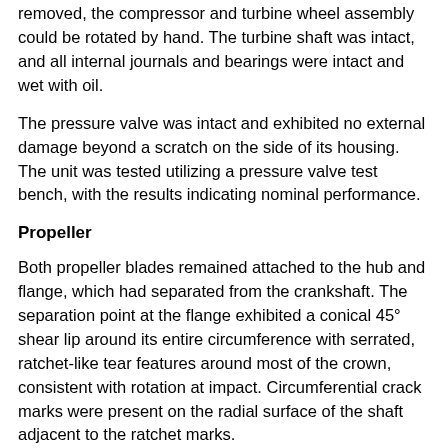removed, the compressor and turbine wheel assembly could be rotated by hand. The turbine shaft was intact, and all internal journals and bearings were intact and wet with oil.
The pressure valve was intact and exhibited no external damage beyond a scratch on the side of its housing. The unit was tested utilizing a pressure valve test bench, with the results indicating nominal performance.
Propeller
Both propeller blades remained attached to the hub and flange, which had separated from the crankshaft. The separation point at the flange exhibited a conical 45° shear lip around its entire circumference with serrated, ratchet-like tear features around most of the crown, consistent with rotation at impact. Circumferential crack marks were present on the radial surface of the shaft adjacent to the ratchet marks.
The first blade (labeled blade 'A') exhibited leading edge gouging, chordwise scratches to its front and aft surfaces, and an S-bend along its entire length. The outboard 16 inch